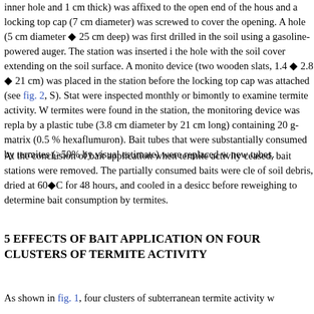inner hole and 1 cm thick) was affixed to the open end of the housing and a locking top cap (7 cm diameter) was screwed to cover the opening. A hole (5 cm diameter ◆ 25 cm deep) was first drilled in the soil using a gasoline-powered auger. The station was inserted in the hole with the soil cover extending on the soil surface. A monitoring device (two wooden slats, 1.4 ◆ 2.8 ◆ 21 cm) was placed in the station before the locking top cap was attached (see fig. 2, S). Stations were inspected monthly or bimontly to examine termite activity. When termites were found in the station, the monitoring device was replaced by a plastic tube (3.8 cm diameter by 21 cm long) containing 20 g matrix (0.5 % hexaflumuron). Bait tubes that were substantially consumed by termites (>50% by visual estimate) were replaced with new tubes.
At the conclusion of bait application when termite activity ceased, bait stations were removed. The partially consumed baits were cleaned of soil debris, dried at 60◆C for 48 hours, and cooled in a desiccator before reweighing to determine bait consumption by termites.
5 EFFECTS OF BAIT APPLICATION ON FOUR CLUSTERS OF TERMITE ACTIVITY
As shown in fig. 1, four clusters of subterranean termite activity w...